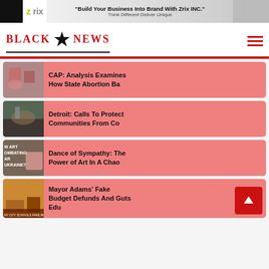[Figure (screenshot): Zrix INC advertisement banner with logo and text 'Build Your Business Into Brand With Zrix INC.' and 'Think Different Deliver Unique']
BLACK ★ NEWS
CAP: Analysis Examines How State Abortion Ba
Detroit: Calls To Protect Communities From Co
Dance of Sympathy: The Power of Art In A Chao
Mayor Adams' Fake Budget Defunds And Guts Edu